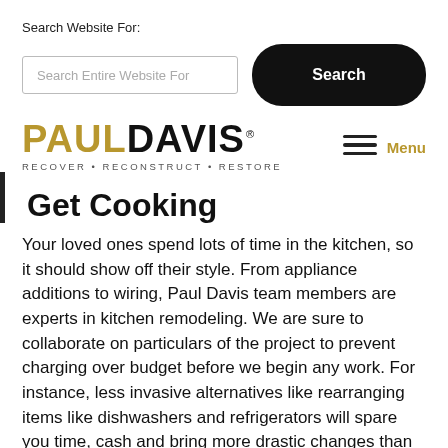Search Website For:
[Figure (screenshot): Search input box with placeholder text 'Search Entire Website For' and a black rounded Search button]
[Figure (logo): Paul Davis logo - PAUL in gold, DAVIS in black, with tagline RECOVER • RECONSTRUCT • RESTORE, and hamburger menu with Menu label in gold]
Get Cooking
Your loved ones spend lots of time in the kitchen, so it should show off their style. From appliance additions to wiring, Paul Davis team members are experts in kitchen remodeling. We are sure to collaborate on particulars of the project to prevent charging over budget before we begin any work. For instance, less invasive alternatives like rearranging items like dishwashers and refrigerators will spare you time, cash and bring more drastic changes than